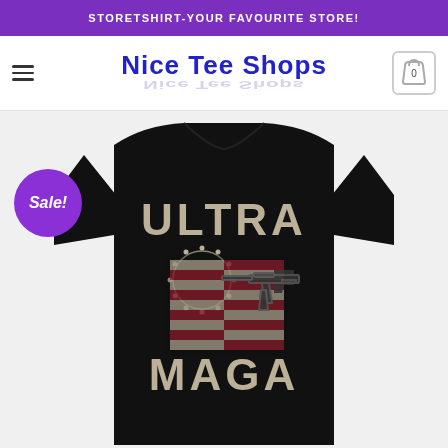STORETSHIRT-YOUR FAVOURITE STORE!
[Figure (logo): Nice Tee Shops logo in bold blue text with reflection effect]
[Figure (photo): Black t-shirt with 'ULTRA MAGA' graphic design featuring an American flag motif with a circle of stars and rifle image. A purple 'Sale!' badge is overlaid on the left side.]